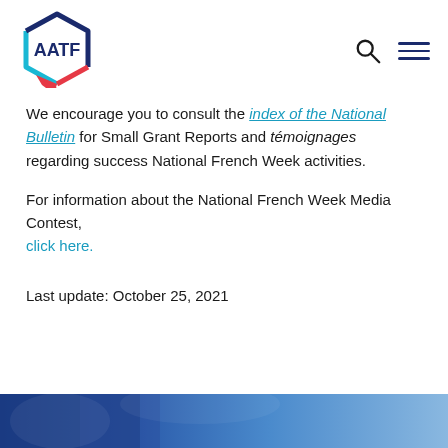[Figure (logo): AATF hexagon logo with cyan, dark blue, and red colors]
We encourage you to consult the index of the National Bulletin for Small Grant Reports and témoignages regarding success National French Week activities.
For information about the National French Week Media Contest, click here.
Last update: October 25, 2021
[Figure (photo): Bottom banner image with blue tones, partially visible]